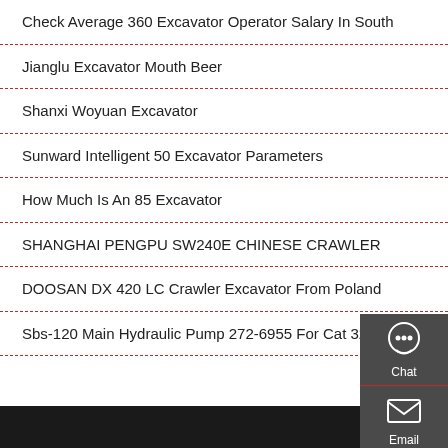Check Average 360 Excavator Operator Salary In South
Jianglu Excavator Mouth Beer
Shanxi Woyuan Excavator
Sunward Intelligent 50 Excavator Parameters
How Much Is An 85 Excavator
SHANGHAI PENGPU SW240E CHINESE CRAWLER
DOOSAN DX 420 LC Crawler Excavator From Poland
Sbs-120 Main Hydraulic Pump 272-6955 For Cat 320d
[Figure (infographic): Sidebar widget with three sections: Chat (headset icon), Email (envelope icon), Contact (speech bubble with dots icon). Dark gray background.]